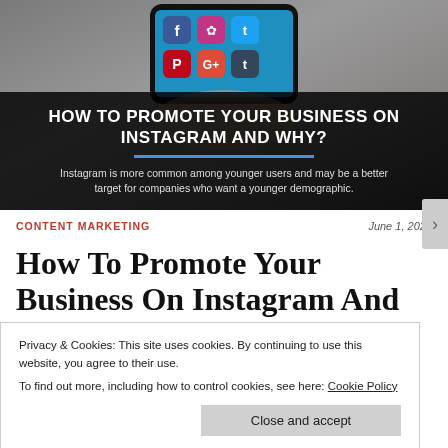[Figure (photo): Hero banner image of a hand holding a smartphone displaying social media app icons (Facebook, Instagram, Twitter, Pinterest, Google+, Tumblr) with a dark overlay containing article title and subtitle text]
HOW TO PROMOTE YOUR BUSINESS ON INSTAGRAM AND WHY?
Instagram is more common among younger users and may be a better target for companies who want a younger demographic.
CONTENT MARKETING
June 1, 2020
How To Promote Your Business On Instagram And
Privacy & Cookies: This site uses cookies. By continuing to use this website, you agree to their use.
To find out more, including how to control cookies, see here: Cookie Policy
Close and accept